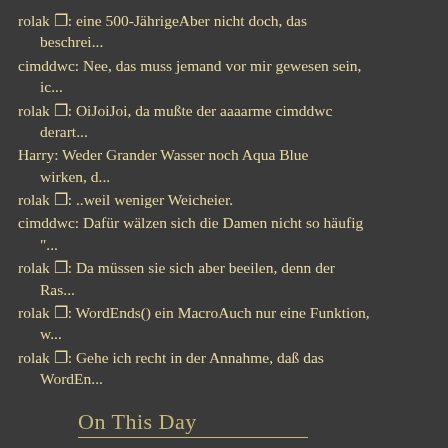rolak ▯: eine 500-JährigeAber nicht doch, das beschrei...
cimddwc: Nee, das muss jemand vor mir gewesen sein, ic...
rolak ▯: OiJoiJoi, da mußte der aaaarme cimddwc derart...
Harry: Weder Grander Wasser noch Aqua Blue wirken, d...
rolak ▯: ..weil weniger Weicheier.
cimddwc: Dafür wälzen sich die Damen nicht so häufig "...
rolak ▯: Da müssen sie sich aber beeilen, denn der Ras...
rolak ▯: WordEnds() ein MacroAuch nur eine Funktion, w...
rolak ▯: Gehe ich recht in der Annahme, daß das WordEn...
On This Day
2016: Zitat von Freddie Mercury
2011: 65, 40, 20
2010: 64 = 26
2009: 63